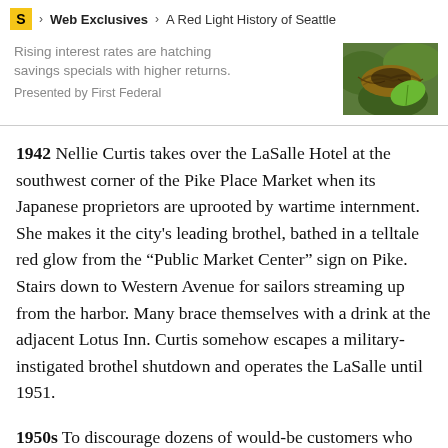S > Web Exclusives > A Red Light History of Seattle
Rising interest rates are hatching savings specials with higher returns.
Presented by First Federal
[Figure (photo): Photo of a bird's nest with green leaves]
1942 Nellie Curtis takes over the LaSalle Hotel at the southwest corner of the Pike Place Market when its Japanese proprietors are uprooted by wartime internment. She makes it the city's leading brothel, bathed in a telltale red glow from the “Public Market Center” sign on Pike. Stairs down to Western Avenue for sailors streaming up from the harbor. Many brace themselves with a drink at the adjacent Lotus Inn. Curtis somehow escapes a military-instigated brothel shutdown and operates the LaSalle until 1951.
1950s To discourage dozens of would-be customers who still show up each day, the LaSalle Hotel’s new owners hang a sign